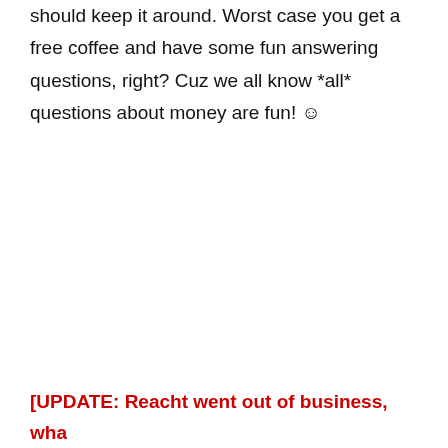should keep it around. Worst case you get a free coffee and have some fun answering questions, right? Cuz we all know *all* questions about money are fun! ☺
[UPDATE: Reacht went out of business, wha